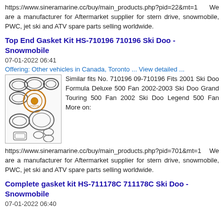https://www.sineramarine.cc/buy/main_products.php?pid=22&mt=1 We are a manufacturer for Aftermarket supplier for stern drive, snowmobile, PWC, jet ski and ATV spare parts selling worldwide.
Top End Gasket Kit HS-710196 710196 Ski Doo - Snowmobile
07-01-2022 06:41
Offering: Other vehicles in Canada, Toronto ... View detailed ...
[Figure (photo): Product image of a gasket kit showing various gaskets and seals laid out.]
Similar fits No. 710196 09-710196 Fits 2001 Ski Doo Formula Deluxe 500 Fan 2002-2003 Ski Doo Grand Touring 500 Fan 2002 Ski Doo Legend 500 Fan More on:
https://www.sineramarine.cc/buy/main_products.php?pid=701&mt=1 We are a manufacturer for Aftermarket supplier for stern drive, snowmobile, PWC, jet ski and ATV spare parts selling worldwide.
Complete gasket kit HS-711178C 711178C Ski Doo - Snowmobile
07-01-2022 06:40